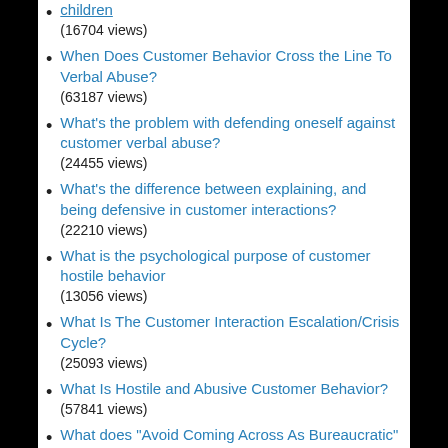children (16704 views)
When Does Customer Behavior Cross the Line To Verbal Abuse? (63187 views)
What's the problem with defending oneself against customer verbal abuse? (24455 views)
What's the difference between explaining, and being defensive in customer interactions? (22210 views)
What is the psychological purpose of customer hostile behavior (13056 views)
What Is The Customer Interaction Escalation/Crisis Cycle? (25093 views)
What Is Hostile and Abusive Customer Behavior? (57841 views)
What does "Avoid Coming Across As Bureaucratic" Mean? (19743 views)
What Do Customers REALLY Want?